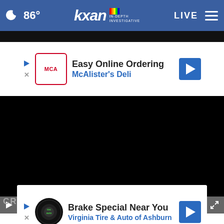🌙 86° | kxan IN-DEPTH INVESTIGATIVE | LIVE ≡
[Figure (screenshot): Advertisement banner: Easy Online Ordering - McAlister's Deli with logo and navigation arrow]
[Figure (screenshot): Black video player area (content not loaded)]
[Figure (screenshot): Advertisement banner: Brake Special Near You - Virginia Tire & Auto of Ashburn with logo and navigation arrow]